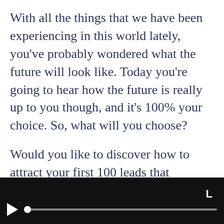With all the things that we have been experiencing in this world lately, you've probably wondered what the future will look like. Today you're going to hear how the future is really up to you though, and it's 100% your choice. So, what will you choose?
Would you like to discover how to attract your first 100 leads that actually want to buy your stuff? My online course for digital product creators is now free, for a limited
[Figure (other): Video player bar showing play button, scrubber/progress bar, and an 'L' label in the top right corner, on a black background.]